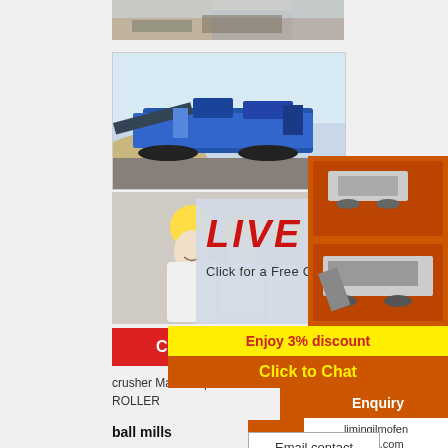[Figure (photo): Top partial image of construction/mining site]
[Figure (photo): Blue mobile crusher/screening machine on tracks at a mining site]
[Figure (photo): Workers in yellow hard hats and white shirts, smiling]
[Figure (illustration): Live Chat popup overlay with 'LIVE CHAT' text and 'Click for a Free Consultation' subtitle]
Chat now
Chat later
crusher Machine price india. liming MIA... ROLLER
[Figure (photo): Orange sidebar with crusher machine images]
Enjoy 3% discount
Click to Chat
More
Get Price
Enquiry
limingjlmofen@sina.com
ball mills
Email contact